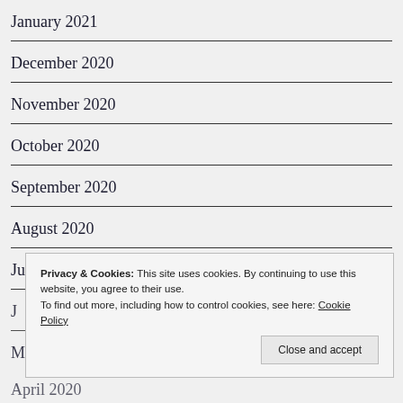January 2021
December 2020
November 2020
October 2020
September 2020
August 2020
July 2020
J…
M…
April 2020
Privacy & Cookies: This site uses cookies. By continuing to use this website, you agree to their use.
To find out more, including how to control cookies, see here: Cookie Policy
Close and accept